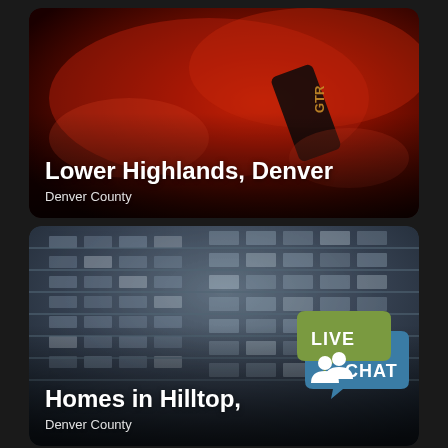[Figure (photo): Red sports car detail photo with GTR text visible, used as background for Lower Highlands Denver neighborhood card]
Lower Highlands, Denver
Denver County
[Figure (photo): Modern glass office building photographed from below at angle, used as background for Homes in Hilltop neighborhood card]
Homes in Hilltop,
Denver County
[Figure (illustration): Live Chat badge with two speech bubbles - green bubble with LIVE text, blue bubble with CHAT text, and white silhouette icons of two people]